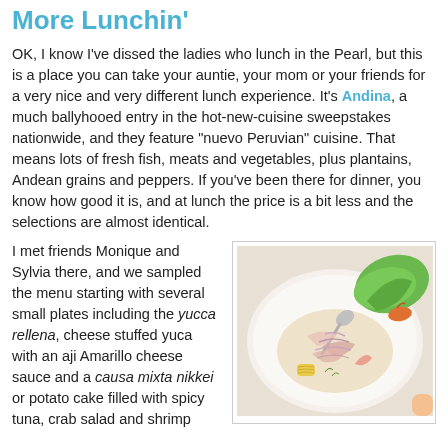More Lunchin'
OK, I know I've dissed the ladies who lunch in the Pearl, but this is a place you can take your auntie, your mom or your friends for a very nice and very different lunch experience. It's Andina, a much ballyhooed entry in the hot-new-cuisine sweepstakes nationwide, and they feature "nuevo Peruvian" cuisine. That means lots of fresh fish, meats and vegetables, plus plantains, Andean grains and peppers. If you've been there for dinner, you know how good it is, and at lunch the price is a bit less and the selections are almost identical.
I met friends Monique and Sylvia there, and we sampled the menu starting with several small plates including the yucca rellena, cheese stuffed yuca with an aji Amarillo cheese sauce and a causa mixta nikkei or potato cake filled with spicy tuna, crab salad and shrimp
[Figure (photo): A white plate with a Peruvian ceviche dish featuring thin slices of raw fish with onions in a light broth, garnished with a spoon, green lettuce leaf, orange pepper, and yellow corn.]